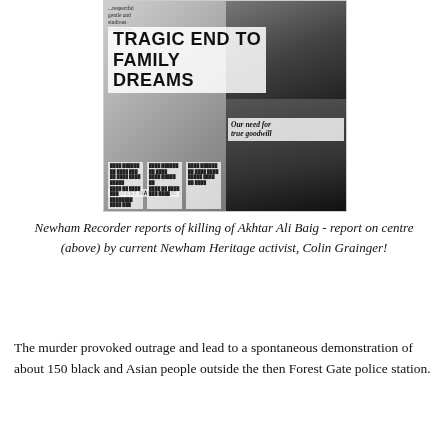[Figure (photo): Scanned newspaper clippings from the Newham Recorder showing multiple articles including a large headline 'TRAGIC END TO FAMILY DREAMS' and photographs of crowds and police. Also includes smaller text columns and a box reading 'Our need for true goodwill' and 'PROTEST MARCH IT IS!' at the bottom.]
Newham Recorder reports of killing of Akhtar Ali Baig - report on centre (above) by current Newham Heritage activist, Colin Grainger!
The murder provoked outrage and lead to a spontaneous demonstration of about 150 black and Asian people outside the then Forest Gate police station.